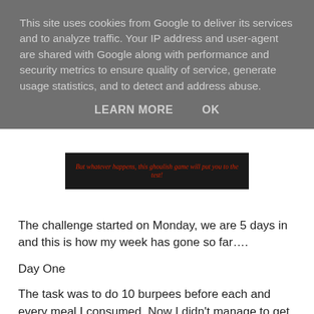This site uses cookies from Google to deliver its services and to analyze traffic. Your IP address and user-agent are shared with Google along with performance and security metrics to ensure quality of service, generate usage statistics, and to detect and address abuse.
LEARN MORE    OK
[Figure (screenshot): Dark banner image with red italic text reading: 'But whatever happens, this ghoulish game will put you to the test!']
The challenge started on Monday, we are 5 days in and this is how my week has gone so far….
Day One
The task was to do 10 burpees before each and every meal I consumed. Now I didn't manage to get photos of this but my children will confirm they had great fun laughing at me doing this all day!!